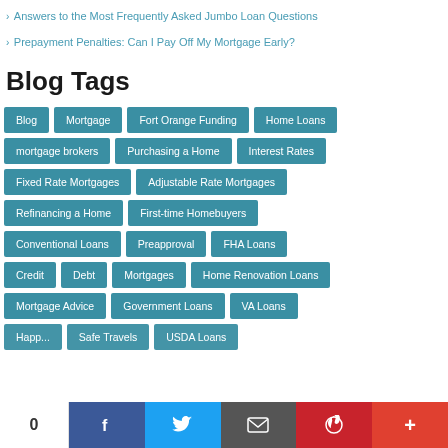> Answers to the Most Frequently Asked Jumbo Loan Questions
> Prepayment Penalties: Can I Pay Off My Mortgage Early?
Blog Tags
Blog
Mortgage
Fort Orange Funding
Home Loans
mortgage brokers
Purchasing a Home
Interest Rates
Fixed Rate Mortgages
Adjustable Rate Mortgages
Refinancing a Home
First-time Homebuyers
Conventional Loans
Preapproval
FHA Loans
Credit
Debt
Mortgages
Home Renovation Loans
Mortgage Advice
Government Loans
VA Loans
Happy Thanksgiving
Safe Travels
USDA Loans
0  [Facebook] [Twitter] [Email] [Pinterest] [More]